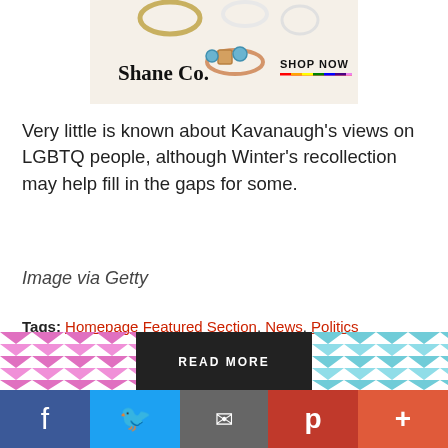[Figure (photo): Shane Co. jewelry advertisement banner showing rings, with 'Shane Co.' logo and 'SHOP NOW' button with rainbow underline on a cream background]
Very little is known about Kavanaugh's views on LGBTQ people, although Winter's recollection may help fill in the gaps for some.
Image via Getty
Tags: Homepage Featured Section, News, Politics
[Figure (screenshot): Bottom content strip with pink chevron pattern on left, 'READ MORE' black button in center, blue-green chevron pattern on right, and social share bar (Facebook, Twitter, Email, Pinterest, More)]